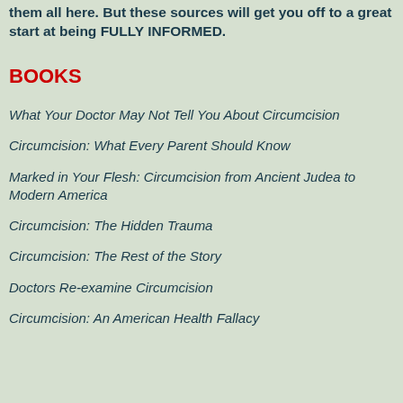them all here. But these sources will get you off to a great start at being FULLY INFORMED.
BOOKS
What Your Doctor May Not Tell You About Circumcision
Circumcision: What Every Parent Should Know
Marked in Your Flesh: Circumcision from Ancient Judea to Modern America
Circumcision: The Hidden Trauma
Circumcision: The Rest of the Story
Doctors Re-examine Circumcision
Circumcision: An American Health Fallacy